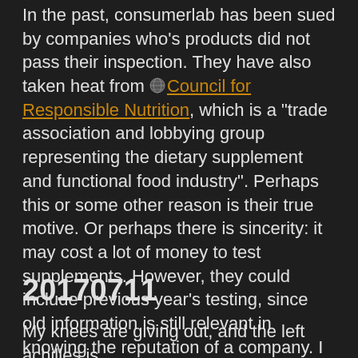In the past, consumerlab has been sued by companies who's products did not pass their inspection. They have also taken heat from Council for Responsible Nutrition, which is a "trade association and lobbying group representing the dietary supplement and functional food industry". Perhaps this or some other reason is their true motive. Or perhaps there is sincerity: it may cost a lot of money to test supplements. However, they could include previous year's testing, since old information is still relevant in knowing the reputation of a company. I do notice that Consumerlab's testing for Ashwagandha currently includes a lot of products that fail testing. I doubt consumerlab subscribers will continue to take products that fail testing.
20170711
My knees are giving out, and the left achilles is